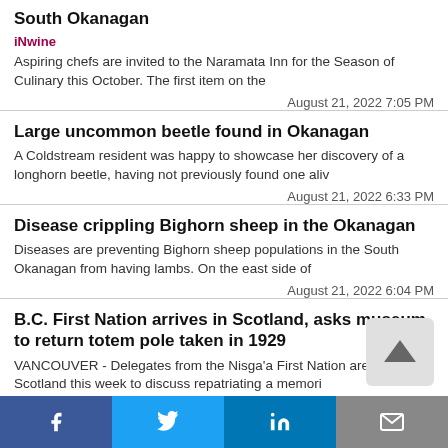South Okanagan
iNwine
Aspiring chefs are invited to the Naramata Inn for the Season of Culinary this October. The first item on the
August 21, 2022 7:05 PM
Large uncommon beetle found in Okanagan
A Coldstream resident was happy to showcase her discovery of a longhorn beetle, having not previously found one aliv
August 21, 2022 6:33 PM
Disease crippling Bighorn sheep in the Okanagan
Diseases are preventing Bighorn sheep populations in the South Okanagan from having lambs. On the east side of
August 21, 2022 6:04 PM
B.C. First Nation arrives in Scotland, asks museum to return totem pole taken in 1929
VANCOUVER - Delegates from the Nisga'a First Nation are in Scotland this week to discuss repatriating a memori
Facebook  Twitter  LinkedIn  Email